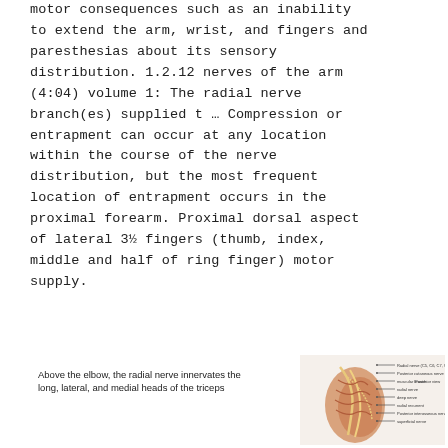motor consequences such as an inability to extend the arm, wrist, and fingers and paresthesias about its sensory distribution. 1.2.12 nerves of the arm (4:04) volume 1: The radial nerve branch(es) supplied t … Compression or entrapment can occur at any location within the course of the nerve distribution, but the most frequent location of entrapment occurs in the proximal forearm. Proximal dorsal aspect of lateral 3½ fingers (thumb, index, middle and half of ring finger) motor supply.
Above the elbow, the radial nerve innervates the long, lateral, and medial heads of the triceps
[Figure (illustration): Anatomical illustration of the radial nerve with labeled branches, showing nerve distribution in the arm/elbow region with colored anatomical structures.]